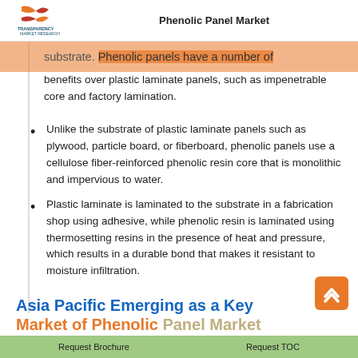Phenolic Panel Market
substrate. Phenolic panels have a number of benefits over plastic laminate panels, such as impenetrable core and factory lamination.
Unlike the substrate of plastic laminate panels such as plywood, particle board, or fiberboard, phenolic panels use a cellulose fiber-reinforced phenolic resin core that is monolithic and impervious to water.
Plastic laminate is laminated to the substrate in a fabrication shop using adhesive, while phenolic resin is laminated using thermosetting resins in the presence of heat and pressure, which results in a durable bond that makes it resistant to moisture infiltration.
Asia Pacific Emerging as a Key Market of Phenolic Panel Market